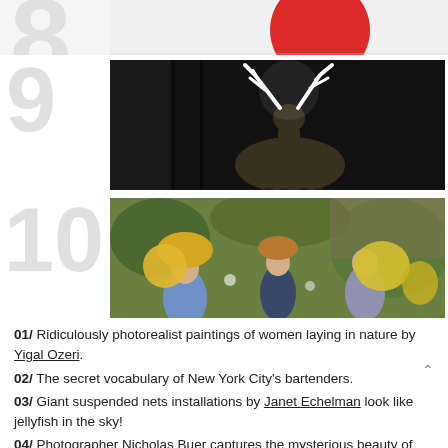[Figure (photo): Partial top strip showing a red circle/disc on white background (Japanese flag style), cropped at top]
[Figure (photo): Dark photograph of a deer/stag with glowing white antlers against a dark barn background]
[Figure (photo): Colorful photo of decorative figurines dressed in ornate period costumes with large textured hats/accessories made of natural materials, outdoors]
01/ Ridiculously photorealist paintings of women laying in nature by Yigal Ozeri.
02/ The secret vocabulary of New York City's bartenders.
03/ Giant suspended nets installations by Janet Echelman look like jellyfish in the sky!
04/ Photographer Nicholas Buer captures the mysterious beauty of